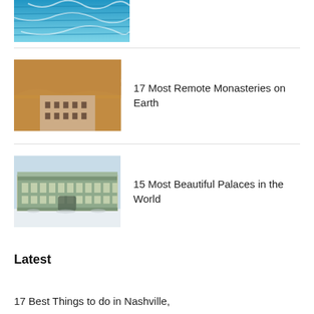[Figure (photo): Top portion of a blue water/waterfall aerial image, cropped at top]
[Figure (photo): Monastery built into a cliff face, rocky desert landscape]
17 Most Remote Monasteries on Earth
[Figure (photo): Large ornate green and white palace building in winter with snow]
15 Most Beautiful Palaces in the World
Latest
17 Best Things to do in Nashville,